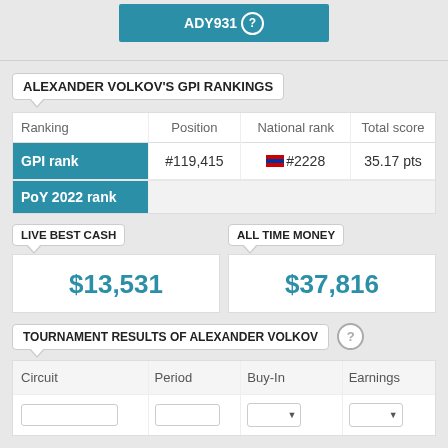ADY931 ?
ALEXANDER VOLKOV'S GPI RANKINGS
| Ranking | Position | National rank | Total score |
| --- | --- | --- | --- |
| GPI rank | #119,415 | 🇷🇺 #2228 | 35.17 pts |
| PoY 2022 rank |  |  |  |
LIVE BEST CASH
$13,531
ALL TIME MONEY
$37,816
TOURNAMENT RESULTS OF ALEXANDER VOLKOV ?
| Circuit | Period | Buy-In | Earnings |
| --- | --- | --- | --- |
|  |  |  |  |